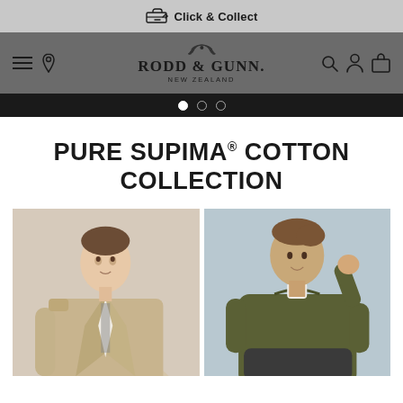Click & Collect
[Figure (screenshot): Rodd & Gunn New Zealand navigation bar with menu icon, location pin, brand logo, search, account, and cart icons]
PURE SUPIMA® COTTON COLLECTION
[Figure (photo): Man in beige/cream blazer jacket posing against neutral background]
[Figure (photo): Man in olive green crewneck sweater posing against light blue background]